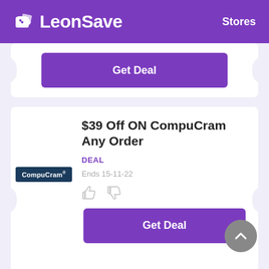LeonSave  Stores
[Figure (other): Get Deal button (partial card at top)]
$39 Off ON CompuCram Any Order
DEAL
Ends 15-11-22
[Figure (logo): CompuCram logo — dark navy background with white text]
[Figure (other): Get Deal button (second card)]
Receive $99 Off At CompuCram
DEAL